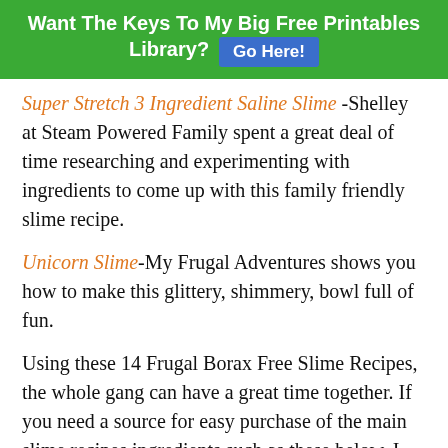Want The Keys To My Big Free Printables Library? Go Here!
Super Stretch 3 Ingredient Saline Slime -Shelley at Steam Powered Family spent a great deal of time researching and experimenting with ingredients to come up with this family friendly slime recipe.
Unicorn Slime-My Frugal Adventures shows you how to make this glittery, shimmery, bowl full of fun.
Using these 14 Frugal Borax Free Slime Recipes, the whole gang can have a great time together. If you need a source for easy purchase of the main slime recipes ingredients such as these below, I suggest Amazon.
[Figure (photo): Bottom portion of a white plastic jug with an orange cap, partially visible at the bottom of the page.]